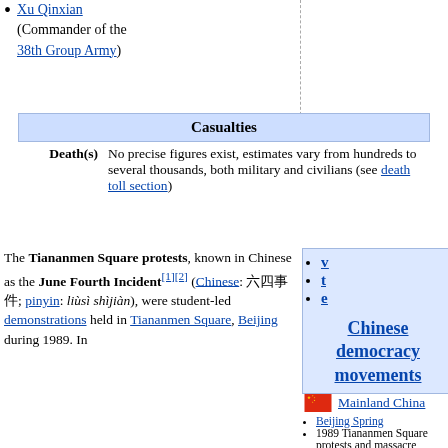Xu Qinxian (Commander of the 38th Group Army)
Casualties
|  |  |
| --- | --- |
| Death(s) | No precise figures exist, estimates vary from hundreds to several thousands, both military and civilians (see death toll section) |
The Tiananmen Square protests, known in Chinese as the June Fourth Incident[1][2] (Chinese: 六四事件; pinyin: liùsì shìjiàn), were student-led demonstrations held in Tiananmen Square, Beijing during 1989. In
[Figure (infographic): Navigation box with v, t, e links and title 'Chinese democracy movements']
Mainland China
Beijing Spring
1989 Tiananmen Square protests and massacre
2011 Chinese pro-democracy protests
2011 crackdown on dissidents in China